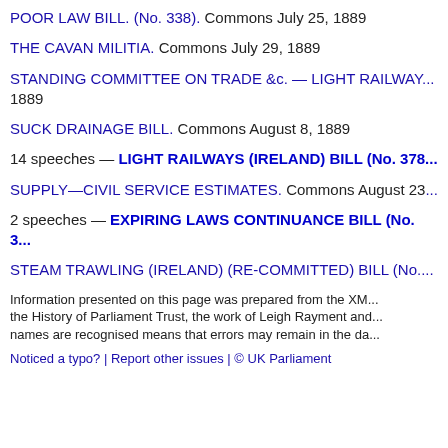POOR LAW BILL. (No. 338). Commons July 25, 1889
THE CAVAN MILITIA. Commons July 29, 1889
STANDING COMMITTEE ON TRADE &c. — LIGHT RAILWAY... 1889
SUCK DRAINAGE BILL. Commons August 8, 1889
14 speeches — LIGHT RAILWAYS (IRELAND) BILL (No. 378...
SUPPLY—CIVIL SERVICE ESTIMATES. Commons August 23...
2 speeches — EXPIRING LAWS CONTINUANCE BILL (No. 3...
STEAM TRAWLING (IRELAND) (RE-COMMITTED) BILL (No....
Information presented on this page was prepared from the XM... the History of Parliament Trust, the work of Leigh Rayment and names are recognised means that errors may remain in the da...
Noticed a typo? | Report other issues | © UK Parliament